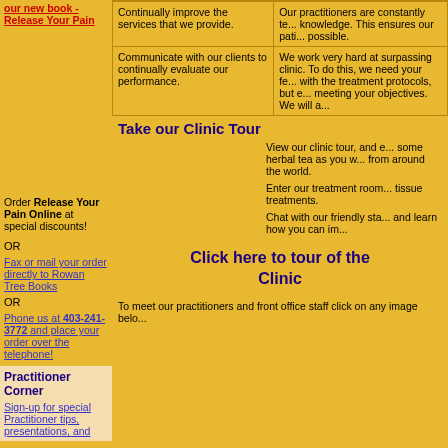our new book - Release Your Pain
| Goal | How |
| --- | --- |
| Continually improve the services that we provide. | Our practitioners are constantly te... knowledge. This ensures our pati... possible. |
| Communicate with our clients to continually evaluate our performance. | We work very hard at surpassing clinic. To do this, we need your fe... with the treatment protocols, but e... meeting your objectives. We will a... |
Order Release Your Pain Online at special discounts!
OR
Fax or mail your order directly to Rowan Tree Books
OR
Phone us at 403-241-3772 and place your order over the telephone!
Practitioner Corner
Sign-up for special Practitioner tips, presentations, and
Take our Clinic Tour
View our clinic tour, and e... some herbal tea as you w... from around the world.
Enter our treatment room... tissue treatments.
Chat with our friendly sta... and learn how you can im...
Click here to tour of the Clinic
To meet our practitioners and front office staff click on any image belo...